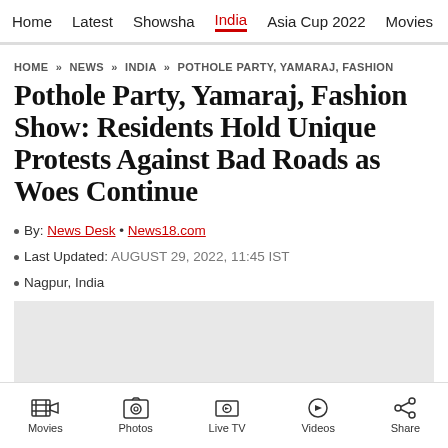Home   Latest   Showsha   India   Asia Cup 2022   Movies   C
HOME » NEWS » INDIA » POTHOLE PARTY, YAMARAJ, FASHION
Pothole Party, Yamaraj, Fashion Show: Residents Hold Unique Protests Against Bad Roads as Woes Continue
• By: News Desk • News18.com
• Last Updated: AUGUST 29, 2022, 11:45 IST
• Nagpur, India
[Figure (other): Gray advertisement placeholder box with close button X]
Movies   Photos   Live TV   Videos   Share